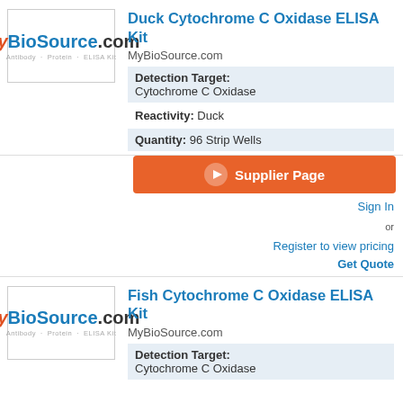[Figure (logo): MyBioSource.com logo with tagline Antibody - Protein - ELISA Kit]
Duck Cytochrome C Oxidase ELISA Kit
MyBioSource.com
Detection Target: Cytochrome C Oxidase
Reactivity: Duck
Quantity: 96 Strip Wells
Supplier Page
Sign In or Register to view pricing
Get Quote
[Figure (logo): MyBioSource.com logo with tagline Antibody - Protein - ELISA Kit]
Fish Cytochrome C Oxidase ELISA Kit
MyBioSource.com
Detection Target: Cytochrome C Oxidase